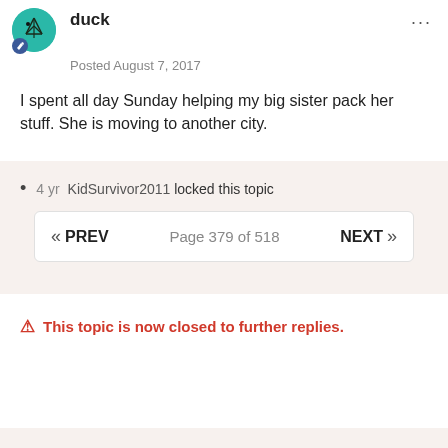duck
Posted August 7, 2017
I spent all day Sunday helping my big sister pack her stuff. She is moving to another city.
4 yr KidSurvivor2011 locked this topic
« PREV    Page 379 of 518    NEXT »
⚠ This topic is now closed to further replies.